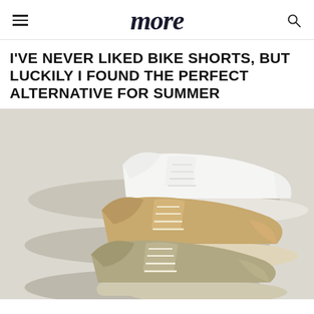more
I'VE NEVER LIKED BIKE SHORTS, BUT LUCKILY I FOUND THE PERFECT ALTERNATIVE FOR SUMMER
[Figure (photo): Three pairs of canvas sneakers stacked/overlapping on a light grey background: a white pair on top, a tan/wheat-colored pair in the middle, and a khaki/olive pair at the bottom.]